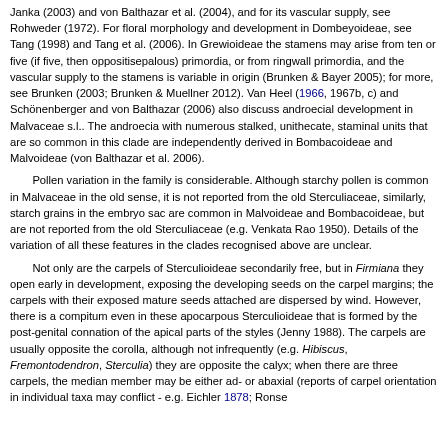Janka (2003) and von Balthazar et al. (2004), and for its vascular supply, see Rohweder (1972). For floral morphology and development in Dombeyoideae, see Tang (1998) and Tang et al. (2006). In Grewioideae the stamens may arise from ten or five (if five, then oppositisepalous) primordia, or from ringwall primordia, and the vascular supply to the stamens is variable in origin (Brunken & Bayer 2005); for more, see Brunken (2003; Brunken & Muellner 2012). Van Heel (1966, 1967b, c) and Schönenberger and von Balthazar (2006) also discuss androecial development in Malvaceae s.l.. The androecia with numerous stalked, unithecate, staminal units that are so common in this clade are independently derived in Bombacoideae and Malvoideae (von Balthazar et al. 2006).
Pollen variation in the family is considerable. Although starchy pollen is common in Malvaceae in the old sense, it is not reported from the old Sterculiaceae, similarly, starch grains in the embryo sac are common in Malvoideae and Bombacoideae, but are not reported from the old Sterculiaceae (e.g. Venkata Rao 1950). Details of the variation of all these features in the clades recognised above are unclear.
Not only are the carpels of Sterculioideae secondarily free, but in Firmiana they open early in development, exposing the developing seeds on the carpel margins; the carpels with their exposed mature seeds attached are dispersed by wind. However, there is a compitum even in these apocarpous Sterculioideae that is formed by the post-genital connation of the apical parts of the styles (Jenny 1988). The carpels are usually opposite the corolla, although not infrequently (e.g. Hibiscus, Fremontodendron, Sterculia) they are opposite the calyx; when there are three carpels, the median member may be either ad- or abaxial (reports of carpel orientation in individual taxa may conflict - e.g. Eichler 1878; Ronse